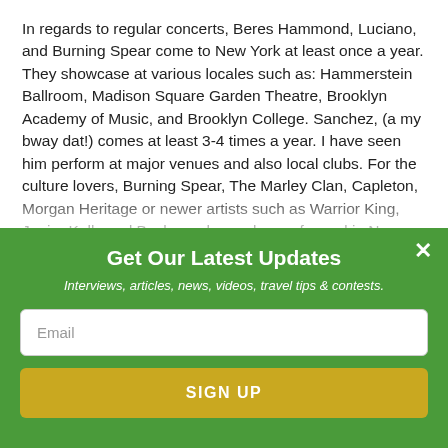In regards to regular concerts, Beres Hammond, Luciano, and Burning Spear come to New York at least once a year. They showcase at various locales such as: Hammerstein Ballroom, Madison Square Garden Theatre, Brooklyn Academy of Music, and Brooklyn College. Sanchez, (a my bway dat!) comes at least 3-4 times a year. I have seen him perform at major venues and also local clubs. For the culture lovers, Burning Spear, The Marley Clan, Capleton, Morgan Heritage or newer artists such as Warrior King, Junior Kelly and Bushman have also performed in New York. Club S.O.B. (Sounds of Brazil) on Varick Street in Manhattan has featured many of these artists. For the fans...
Get Our Latest Updates
Interviews, articles, news, videos, travel tips & contests.